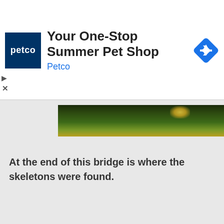[Figure (screenshot): Petco advertisement banner with navy blue logo square showing 'petco' text, ad title 'Your One-Stop Summer Pet Shop', subtitle 'Petco' in blue, and a blue diamond navigation icon on the right]
[Figure (photo): Partial photo strip showing lush green foliage/trees with a bright spot, partially obscured by a white chevron/collapse button on the left]
At the end of this bridge is where the skeletons were found.